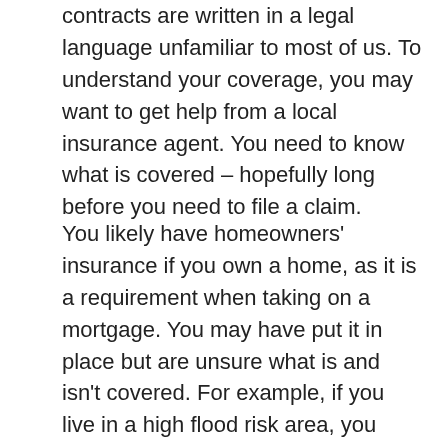contracts are written in a legal language unfamiliar to most of us. To understand your coverage, you may want to get help from a local insurance agent. You need to know what is covered – hopefully long before you need to file a claim.
You likely have homeowners' insurance if you own a home, as it is a requirement when taking on a mortgage. You may have put it in place but are unsure what is and isn't covered. For example, if you live in a high flood risk area, you must purchase separate flood insurance – your homeowners' insurance does not likely cover that peril. Earthquake damage also requires added coverage.